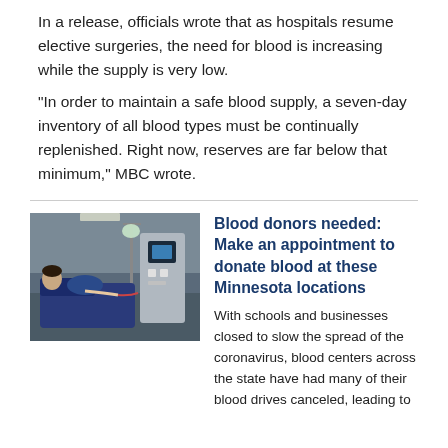In a release, officials wrote that as hospitals resume elective surgeries, the need for blood is increasing while the supply is very low.
"In order to maintain a safe blood supply, a seven-day inventory of all blood types must be continually replenished. Right now, reserves are far below that minimum," MBC wrote.
[Figure (photo): Photo of a blood donation center with a person donating blood and medical equipment visible.]
Blood donors needed: Make an appointment to donate blood at these Minnesota locations
With schools and businesses closed to slow the spread of the coronavirus, blood centers across the state have had many of their blood drives canceled, leading to